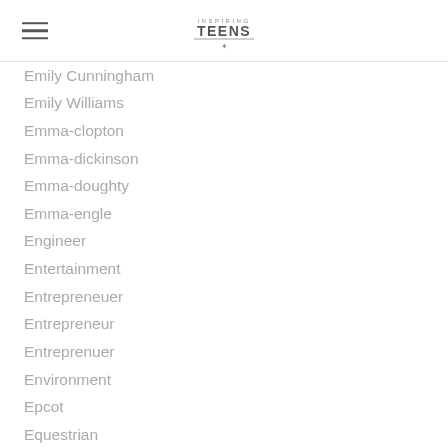Inspiring Teens [logo]
Emily Cunningham
Emily Williams
Emma-clopton
Emma-dickinson
Emma-doughty
Emma-engle
Engineer
Entertainment
Entrepreneuer
Entrepreneur
Entreprenuer
Environment
Epcot
Equestrian
Erin-pellet
Ethan Brown
Ethanspencer
Eva-martinez
Eva-vandelli